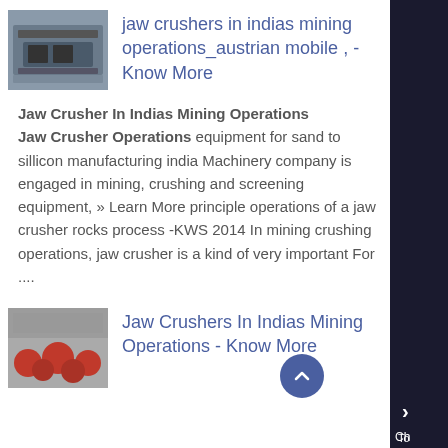[Figure (photo): Thumbnail image of jaw crusher machinery]
jaw crushers in indias mining operations_austrian mobile , - Know More
Jaw Crusher In Indias Mining Operations Jaw Crusher Operations equipment for sand to sillicon manufacturing india Machinery company is engaged in mining, crushing and screening equipment, » Learn More principle operations of a jaw crusher rocks process -KWS 2014 In mining crushing operations, jaw crusher is a kind of very important For ....
[Figure (photo): Thumbnail image of mining/crushing equipment with red spherical items]
Jaw Crushers In Indias Mining Operations - Know More